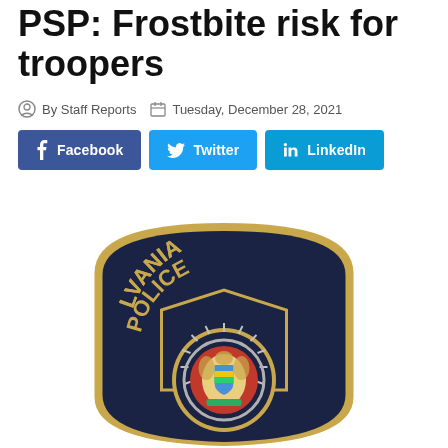PSP: Frostbite risk for troopers
By Staff Reports   Tuesday, December 28, 2021
[Figure (logo): Pennsylvania State Police badge/shield logo with navy background, gold lettering reading PENNSYLVANIA STATE POLICE, and a central emblem featuring the Pennsylvania coat of arms with rearing horses, eagle, and red/gold/green shield]